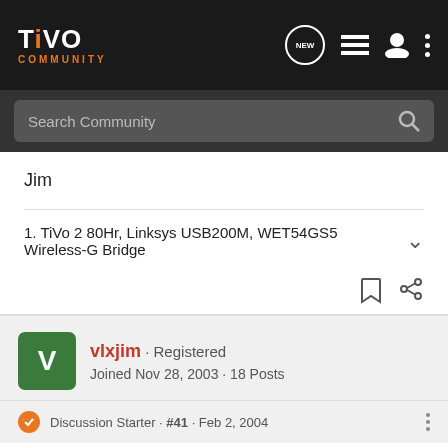TiVo Community
Jim
1. TiVo 2 80Hr, Linksys USB200M, WET54GS5 Wireless-G Bridge
vlxjim · Registered
Joined Nov 28, 2003 · 18 Posts
Discussion Starter · #41 · Feb 2, 2004